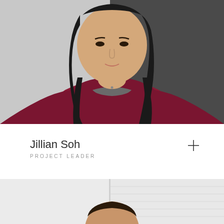[Figure (photo): Portrait photo of a woman with long black hair wearing a dark red/maroon cardigan over a gray top, photographed against a split light gray and dark gray background]
Jillian Soh
PROJECT LEADER
[Figure (photo): Partial portrait photo of a person, cropped to show only the top of their head and shoulders, against a light background]